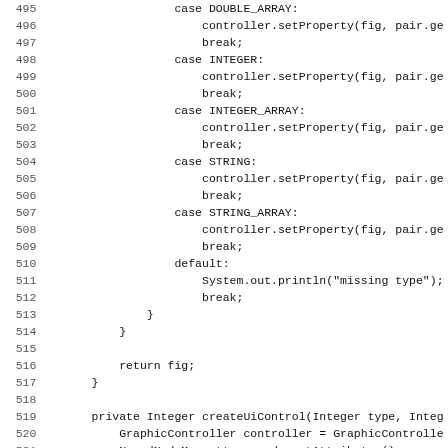Code listing lines 495-526 showing Java switch-case and method definition